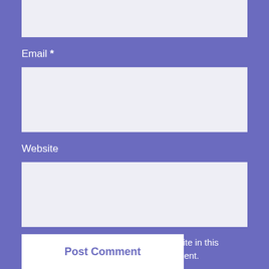[Figure (screenshot): Top portion of a text input field (partial, cropped at top)]
Email *
[Figure (screenshot): Email text input field (empty, light grey background)]
Website
[Figure (screenshot): Website text input field (empty, light grey background)]
Save my name, email, and website in this browser for the next time I comment.
Post Comment